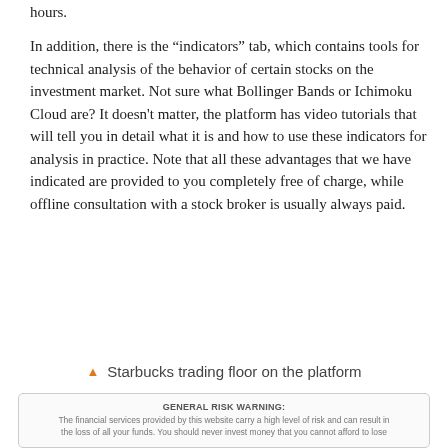hours.
In addition, there is the “indicators” tab, which contains tools for technical analysis of the behavior of certain stocks on the investment market. Not sure what Bollinger Bands or Ichimoku Cloud are? It doesn't matter, the platform has video tutorials that will tell you in detail what it is and how to use these indicators for analysis in practice. Note that all these advantages that we have indicated are provided to you completely free of charge, while offline consultation with a stock broker is usually always paid.
Starbucks trading floor on the platform
GENERAL RISK WARNING: The financial services provided by this website carry a high level of risk and can result in the loss of all your funds. You should never invest money that you cannot afford to lose